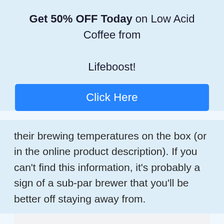Get 50% OFF Today on Low Acid Coffee from Lifeboost!
Click Here
their brewing temperatures on the box (or in the online product description). If you can't find this information, it's probably a sign of a sub-par brewer that you'll be better off staying away from.